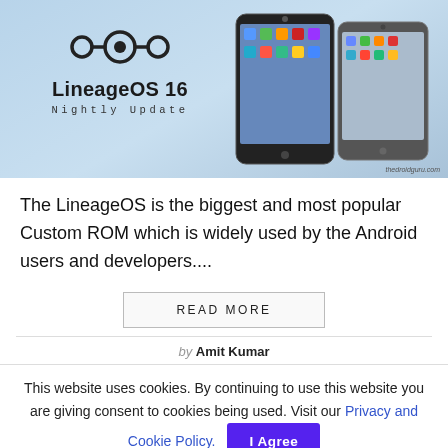[Figure (screenshot): LineageOS 16 Nightly Update promotional banner with logo and two Android phones on a light blue gradient background. Website watermark: thedroidguru.com]
The LineageOS is the biggest and most popular Custom ROM which is widely used by the Android users and developers....
READ MORE
by Amit Kumar
This website uses cookies. By continuing to use this website you are giving consent to cookies being used. Visit our Privacy and Cookie Policy.
I Agree